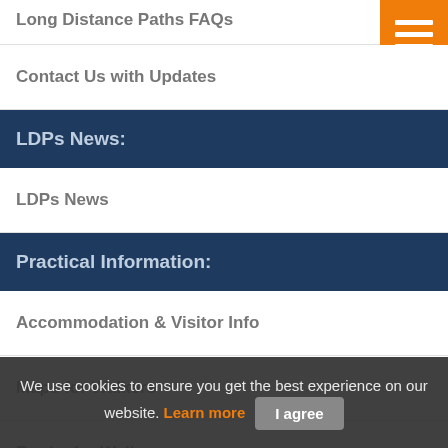Long Distance Paths FAQs
Contact Us with Updates
LDPs News:
LDPs News
Practical Information:
Accommodation & Visitor Info
Maps for Walkers
Books for Walkers
LDP Information:
Introduction to LDPs
We use cookies to ensure you get the best experience on our website. Learn more  I agree